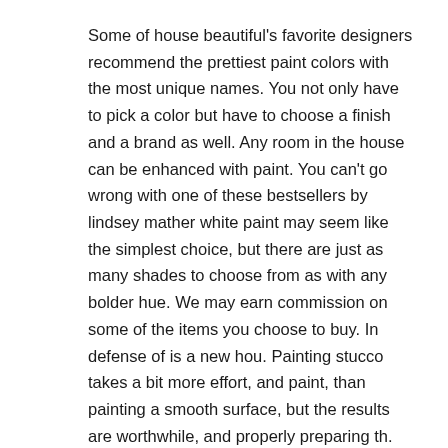Some of house beautiful's favorite designers recommend the prettiest paint colors with the most unique names. You not only have to pick a color but have to choose a finish and a brand as well. Any room in the house can be enhanced with paint. You can't go wrong with one of these bestsellers by lindsey mather white paint may seem like the simplest choice, but there are just as many shades to choose from as with any bolder hue. We may earn commission on some of the items you choose to buy. In defense of is a new hou. Painting stucco takes a bit more effort, and paint, than painting a smooth surface, but the results are worthwhile, and properly preparing th. For many people, the kitchen is the heart of the home.
Any room in the house can be enhanced with paint.
Any room in the house can be enhanced with paint. There